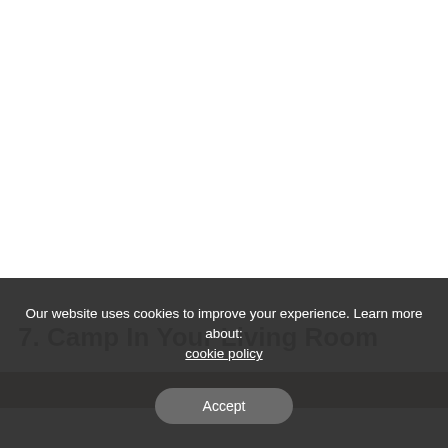7. Camp In Your Living Room
[Figure (photo): Dark interior photo, appears to be a living room scene, partially visible at bottom of page]
Our website uses cookies to improve your experience. Learn more about: cookie policy
Accept